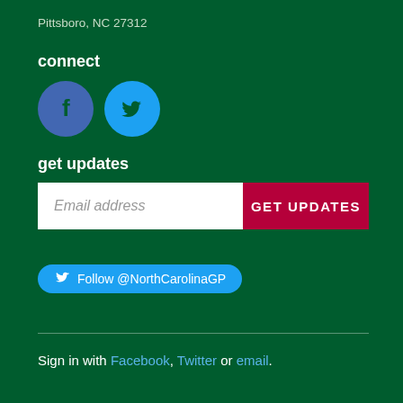Pittsboro, NC 27312
connect
[Figure (infographic): Facebook and Twitter social media icon circles — Facebook (blue circle with f logo) and Twitter (light blue circle with bird logo)]
get updates
[Figure (infographic): Email signup bar with white input field showing 'Email address' placeholder and a crimson 'GET UPDATES' button]
[Figure (infographic): Twitter follow button: blue rounded pill with bird icon and text 'Follow @NorthCarolinaGP']
Sign in with Facebook, Twitter or email.